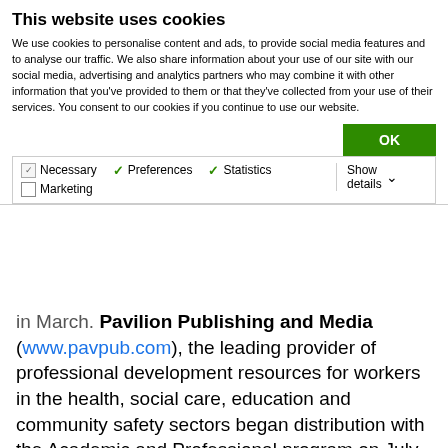This website uses cookies
We use cookies to personalise content and ads, to provide social media features and to analyse our traffic. We also share information about your use of our site with our social media, advertising and analytics partners who may combine it with other information that you’ve provided to them or that they’ve collected from your use of their services. You consent to our cookies if you continue to use our website.
OK
Necessary  Preferences  Statistics  Marketing  Show details
in March. Pavilion Publishing and Media (www.pavpub.com), the leading provider of professional development resources for workers in the health, social care, education and community safety sectors began distribution with the Academic and Professional program on July 1, 2019.
Distribution of DesignerBooks (www.designerbooks.com.cn) began in June